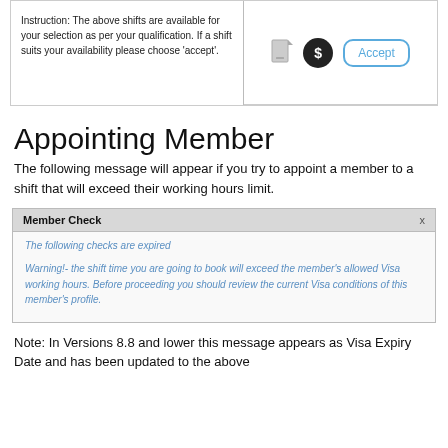[Figure (screenshot): Screenshot of a shift selection UI with instruction text on the left and icons (document, dollar, Accept button) on the right.]
Appointing Member
The following message will appear if you try to appoint a member to a shift that will exceed their working hours limit.
[Figure (screenshot): Dialog box titled 'Member Check' with an x close button. Contains italic blue text: 'The following checks are expired' and 'Warning!- the shift time you are going to book will exceed the member's allowed Visa working hours. Before proceeding you should review the current Visa conditions of this member's profile.']
Note: In Versions 8.8 and lower this message appears as Visa Expiry Date and has been updated to the above